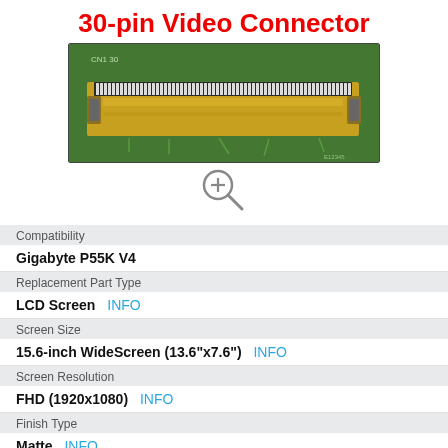30-pin Video Connector
[Figure (photo): Photo of a 30-pin video connector (FPC/FFC flat ribbon connector) on a green PCB, showing gold-colored metal contacts and locking mechanism.]
[Figure (other): Magnifying glass zoom icon]
| Property | Value |
| --- | --- |
| Compatibility | Gigabyte P55K V4 |
| Replacement Part Type | LCD Screen   INFO |
| Screen Size | 15.6-inch WideScreen (13.6"x7.6")   INFO |
| Screen Resolution | FHD (1920x1080)   INFO |
| Finish Type | Matte   INFO |
| Backlight type |  |